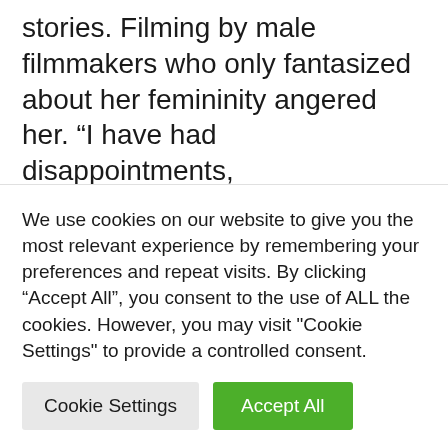stories. Filming by male filmmakers who only fantasized about her femininity angered her. “I have had disappointments, disappointments,” she admits. They had ideas ready. I was the boyfriend. So I wanted to create a girl character who was not super feminine, so she could dress like a ghost. »
However, putting yourself in the spotlight: no thanks. “I admire those who like Mari…
We use cookies on our website to give you the most relevant experience by remembering your preferences and repeat visits. By clicking “Accept All”, you consent to the use of ALL the cookies. However, you may visit "Cookie Settings" to provide a controlled consent.